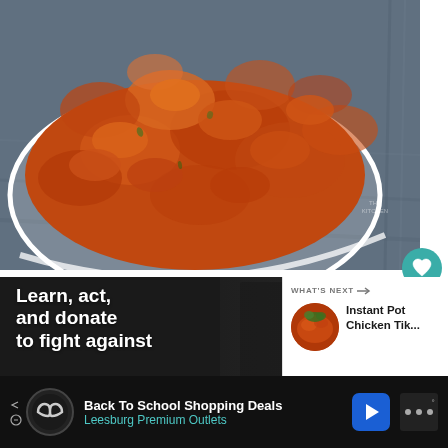[Figure (photo): Overhead close-up photo of chicken tikka masala in a white bowl, placed on a dark grey wooden surface. The curry is orange-red with chunks of chicken in thick sauce. A heart/like button (teal circle) is visible on the right side showing 368 likes, and a share button below it.]
368
[Figure (photo): Advertisement banner with dark background showing text 'Learn, act, and donate to fight against' in bold white text, with a dark photographic background showing a person in dark clothing.]
WHAT'S NEXT → Instant Pot Chicken Tik...
[Figure (photo): Small circular thumbnail of Instant Pot Chicken Tikka Masala for the 'What's Next' recommendation panel.]
Back To School Shopping Deals
Leesburg Premium Outlets